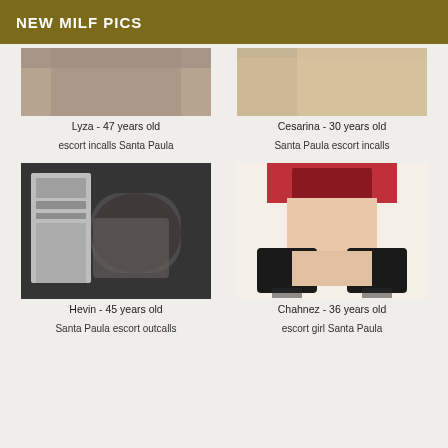NEW MILF PICS
[Figure (photo): Partial photo cropped at top - Lyza]
[Figure (photo): Partial photo cropped at top - Cesarina]
Lyza - 47 years old
Cesarina - 30 years old
escort incalls Santa Paula
Santa Paula escort incalls
[Figure (photo): Black and white photo of lace and wine bottle - Hevin]
[Figure (photo): Photo of person in red lingerie and black stockings - Chahnez]
Hevin - 45 years old
Chahnez - 36 years old
Santa Paula escort outcalls
escort girl Santa Paula